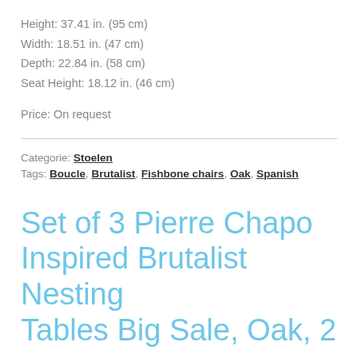Height: 37.41 in. (95 cm)
Width: 18.51 in. (47 cm)
Depth: 22.84 in. (58 cm)
Seat Height: 18.12 in. (46 cm)
Price: On request
Categorie: Stoelen
Tags: Boucle, Brutalist, Fishbone chairs, Oak, Spanish
Set of 3 Pierre Chapo Inspired Brutalist Nesting Tables Big Sale, Oak, 2